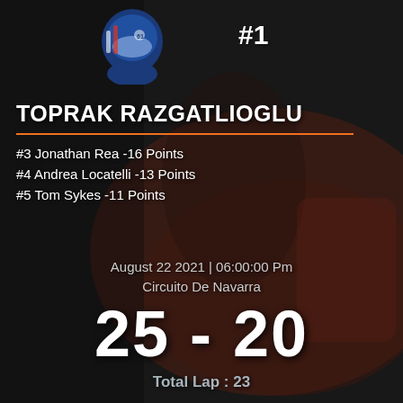[Figure (photo): Background photo of a motorcycle racer on a red motorcycle, overlaid with dark semi-transparent overlay and orange banner]
#1
TOPRAK RAZGATLIOGLU
#3 Jonathan Rea -16 Points
#4 Andrea Locatelli -13 Points
#5 Tom Sykes -11 Points
August 22 2021 | 06:00:00 Pm
Circuito De Navarra
25 - 20
Total Lap : 23